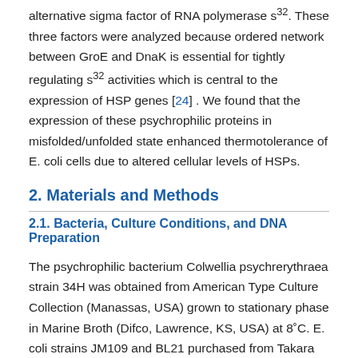alternative sigma factor of RNA polymerase s32. These three factors were analyzed because ordered network between GroE and DnaK is essential for tightly regulating s32 activities which is central to the expression of HSP genes [24] . We found that the expression of these psychrophilic proteins in misfolded/unfolded state enhanced thermotolerance of E. coli cells due to altered cellular levels of HSPs.
2. Materials and Methods
2.1. Bacteria, Culture Conditions, and DNA Preparation
The psychrophilic bacterium Colwellia psychrerythraea strain 34H was obtained from American Type Culture Collection (Manassas, USA) grown to stationary phase in Marine Broth (Difco, Lawrence, KS, USA) at 8°C. E. coli strains JM109 and BL21 purchased from Takara (Japan) were used for the propagation of plasmids and the